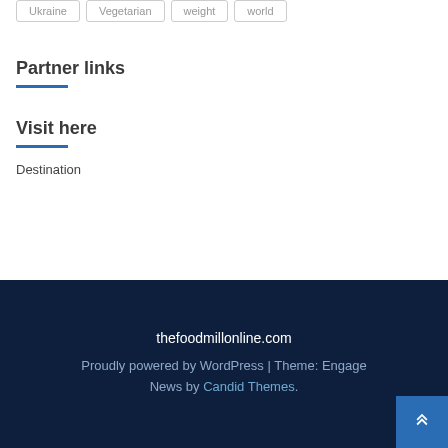Ukraine
Vegetarian
weight
world
Partner links
Visit here
Destination
thefoodmillonline.com
Proudly powered by WordPress | Theme: Engage News by Candid Themes.